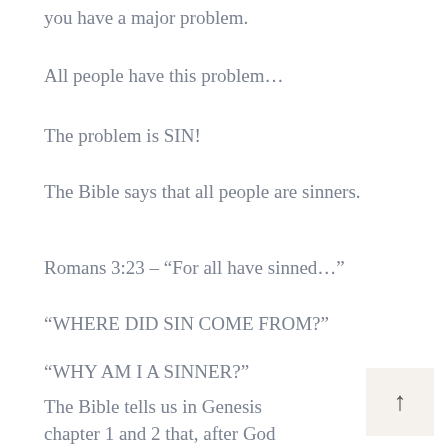you have a major problem.
All people have this problem…
The problem is SIN!
The Bible says that all people are sinners.
Romans 3:23 – “For all have sinned…”
“WHERE DID SIN COME FROM?”
“WHY AM I A SINNER?”
The Bible tells us in Genesis chapter 1 and 2 that, after God created everything, He placed Adam and Eve (the first